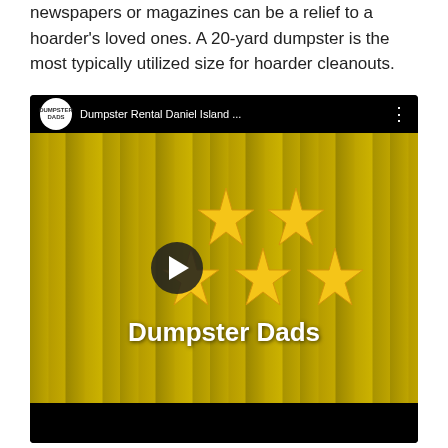newspapers or magazines can be a relief to a hoarder's loved ones. A 20-yard dumpster is the most typically utilized size for hoarder cleanouts.
[Figure (screenshot): YouTube video thumbnail for 'Dumpster Rental Daniel Island ...' by Dumpster Dads. Shows a yellow dumpster in the background with five gold stars and a play button. The text 'Dumpster Dads' appears at the bottom in large white bold letters.]